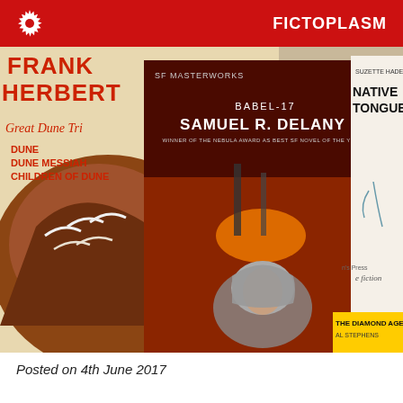FICTOPLASM
[Figure (photo): A photograph of several science fiction book covers arranged together. In the center is 'Babel-17' by Samuel R. Delany (SF Masterworks edition), featuring a woman in a sci-fi helmet against a red landscape. On the left is Frank Herbert's 'Great Dune Trilogy' (Dune, Dune Messiah, Children of Dune) with a sandworm on the cover. On the right is 'Native Tongue' by Suzette Haden Elgin. Partially visible at the bottom right is 'The Diamond Age' by Neal Stephenson.]
Posted on 4th June 2017